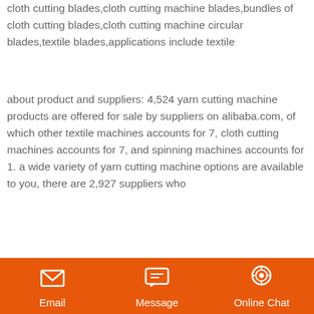cloth cutting blades,cloth cutting machine blades,bundles of cloth cutting blades,cloth cutting machine circular blades,textile blades,applications include textile
about product and suppliers: 4,524 yarn cutting machine products are offered for sale by suppliers on alibaba.com, of which other textile machines accounts for 7, cloth cutting machines accounts for 7, and spinning machines accounts for 1. a wide variety of yarn cutting machine options are available to you, there are 2,927 suppliers who
[Figure (photo): Photo of stone crushing/quarrying machinery at an industrial site]
Ramina Textile Crush Cutter Machines In Indonesia
stone crush industry. management in akamkpa crush rock industry. rent antimony crush machine in thailand crush calcium carbonate can we use vsi crusher to crush bauxite second hand stone crush machine secondary crusher pulverisette 13 5 kg hour crush difference between cone
Email   Message   Online Chat